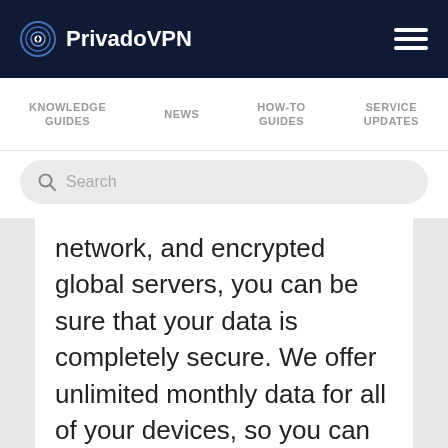PrivadoVPN
KNOWLEDGE GUIDES   NEWS   HOW-TO GUIDES   SERVICE UPDATES
Search
network, and encrypted global servers, you can be sure that your data is completely secure. We offer unlimited monthly data for all of your devices, so you can be sure that your entire home network is protected. Plus, with premium access to PrivadoVPN, you can take advantage of our true zero-log